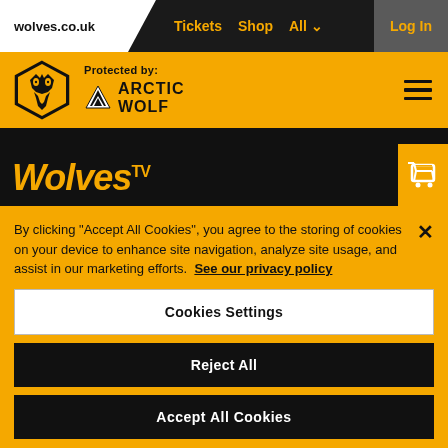wolves.co.uk   Tickets   Shop   All   Log In
[Figure (logo): Wolverhampton Wanderers FC crest logo (wolf head in gold hexagon) alongside Protected by: Arctic Wolf logo on yellow header bar]
WolvesTV
By clicking “Accept All Cookies”, you agree to the storing of cookies on your device to enhance site navigation, analyze site usage, and assist in our marketing efforts.  See our privacy policy
Cookies Settings
Reject All
Accept All Cookies